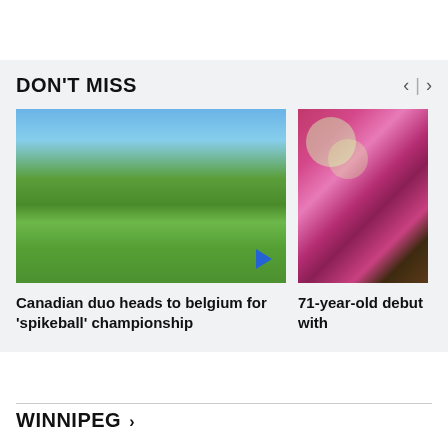DON'T MISS
[Figure (photo): Two people in Canada jerseys playing spikeball on a grass field, high-fiving, with trees in background. Play button overlay in bottom right.]
Canadian duo heads to belgium for 'spikeball' championship
[Figure (photo): Abstract pink and green circular art piece hung on a wall in a gallery.]
71-year-old debut with
WINNIPEG >